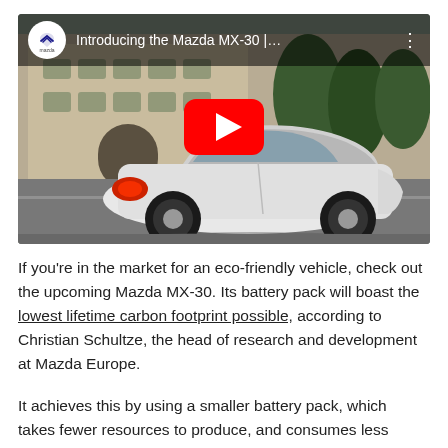[Figure (screenshot): YouTube video thumbnail for 'Introducing the Mazda MX-30 |...' showing a white Mazda MX-30 SUV driving on a road past a classical building and trees, with a red YouTube play button in the center, the Mazda logo and video title in an overlay bar at the top.]
If you're in the market for an eco-friendly vehicle, check out the upcoming Mazda MX-30. Its battery pack will boast the lowest lifetime carbon footprint possible, according to Christian Schultze, the head of research and development at Mazda Europe.
It achieves this by using a smaller battery pack, which takes fewer resources to produce, and consumes less